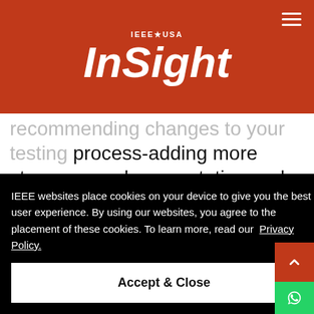IEEE USA InSight
recommending changes to your testing process-adding more steps, more documentation and more rigor. You have evidence that testing shortcuts have
IEEE websites place cookies on your device to give you the best user experience. By using our websites, you agree to the placement of these cookies. To learn more, read our Privacy Policy.
Accept & Close
ople, ence you. are